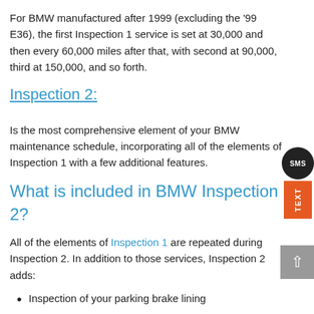For BMW manufactured after 1999 (excluding the '99 E36), the first Inspection 1 service is set at 30,000 and then every 60,000 miles after that, with second at 90,000, third at 150,000, and so forth.
Inspection 2:
Is the most comprehensive element of your BMW maintenance schedule, incorporating all of the elements of Inspection 1 with a few additional features.
What is included in BMW Inspection 2?
All of the elements of Inspection 1 are repeated during Inspection 2. In addition to those services, Inspection 2 adds:
Inspection of your parking brake lining